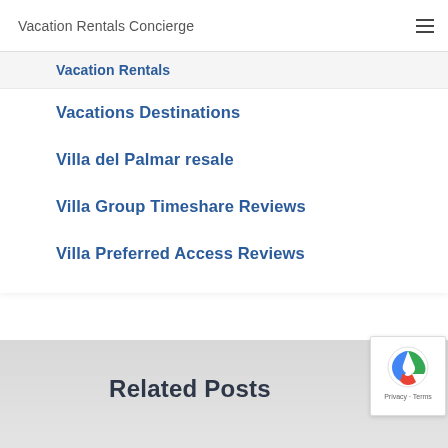Vacation Rentals Concierge
Vacation Rentals
Vacations Destinations
Villa del Palmar resale
Villa Group Timeshare Reviews
Villa Preferred Access Reviews
Related Posts